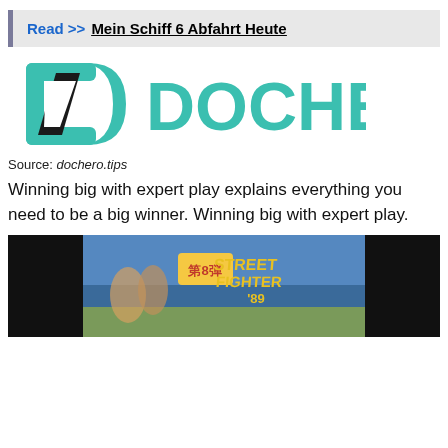Read >> Mein Schiff 6 Abfahrt Heute
[Figure (logo): Dochero logo with teal icon and large teal DOCHERO text]
Source: dochero.tips
Winning big with expert play explains everything you need to be a big winner. Winning big with expert play.
[Figure (screenshot): Street Fighter '89 game screenshot with dark background, characters and Japanese text]